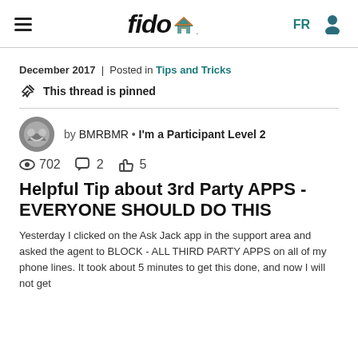fido | FR
December 2017  |  Posted in Tips and Tricks
This thread is pinned
by BMRBMR • I'm a Participant Level 2
702 views  2 comments  5 likes
Helpful Tip about 3rd Party APPS - EVERYONE SHOULD DO THIS
Yesterday I clicked on the Ask Jack app in the support area and asked the agent to BLOCK - ALL THIRD PARTY APPS on all of my phone lines. It took about 5 minutes to get this done, and now I will not get